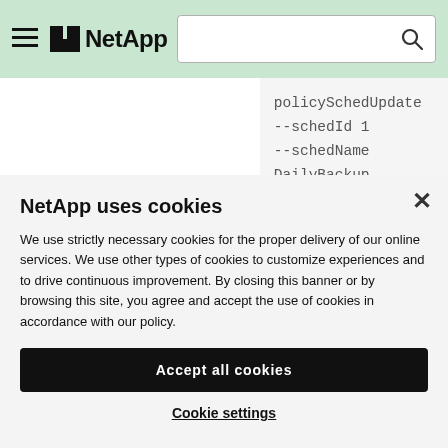NetApp
policySchedUpdate --schedId 1 --schedName DailyBackup
NetApp uses cookies
We use strictly necessary cookies for the proper delivery of our online services. We use other types of cookies to customize experiences and to drive continuous improvement. By closing this banner or by browsing this site, you agree and accept the use of cookies in accordance with our policy.
Accept all cookies
Cookie settings